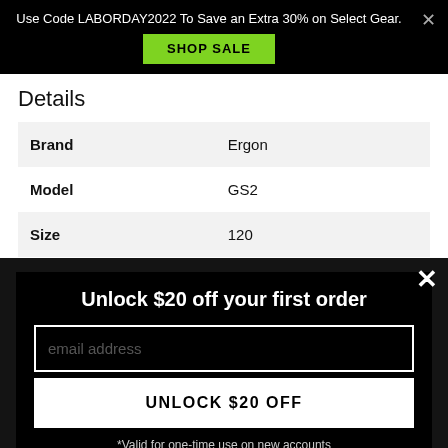Use Code LABORDAY2022 To Save an Extra 30% on Select Gear. SHOP SALE
Details
| Brand | Ergon |
| Model | GS2 |
| Size | 120 |
| Type | Lock-On |
Unlock $20 off your first order
email address
UNLOCK $20 OFF
*Valid for one-time use on new accounts